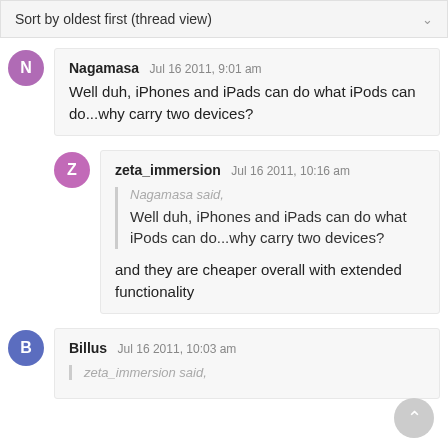Sort by oldest first (thread view)
Nagamasa  Jul 16 2011, 9:01 am
Well duh, iPhones and iPads can do what iPods can do...why carry two devices?
zeta_immersion  Jul 16 2011, 10:16am
Nagamasa said,
Well duh, iPhones and iPads can do what iPods can do...why carry two devices?
and they are cheaper overall with extended functionality
Billus  Jul 16 2011, 10:03am
zeta_immersion said,